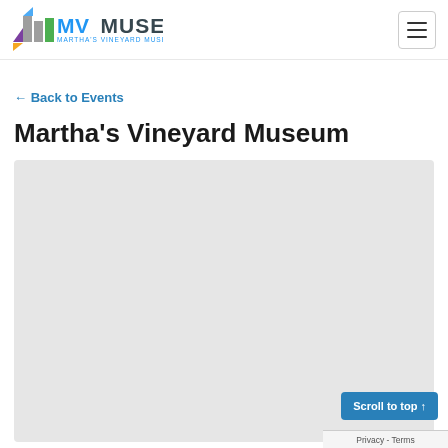MV Museum — Martha's Vineyard Museum
← Back to Events
Martha's Vineyard Museum
[Figure (map): Embedded map or image placeholder with light grey background]
Scroll to top ↑
Privacy - Terms